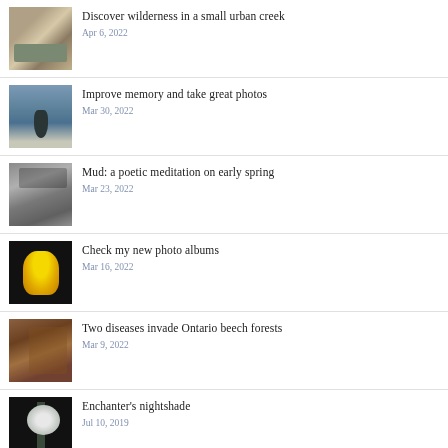Discover wilderness in a small urban creek – Apr 6, 2022
Improve memory and take great photos – Mar 30, 2022
Mud: a poetic meditation on early spring – Mar 23, 2022
Check my new photo albums – Mar 16, 2022
Two diseases invade Ontario beech forests – Mar 9, 2022
Enchanter's nightshade – Jul 10, 2019